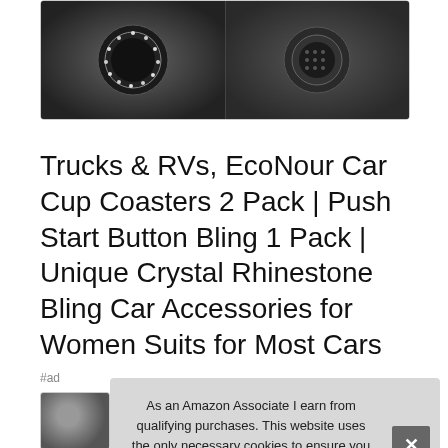[Figure (photo): Car cup holder bling accessories product photo showing two cup holders with crystal rhinestone decorations on a dark interior surface]
Trucks & RVs, EcoNour Car Cup Coasters 2 Pack | Push Start Button Bling 1 Pack | Unique Crystal Rhinestone Bling Car Accessories for Women Suits for Most Cars
#ad
[Figure (photo): Small product thumbnail image of car cup coasters]
As an Amazon Associate I earn from qualifying purchases. This website uses the only necessary cookies to ensure you get the best experience on our website. More information